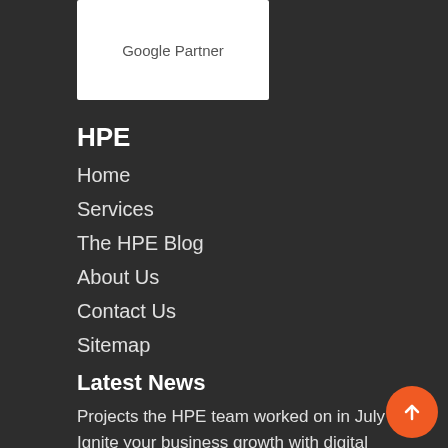[Figure (logo): Google Partner badge/logo on white background card]
HPE
Home
Services
The HPE Blog
About Us
Contact Us
Sitemap
Latest News
Projects the HPE team worked on in July
Ignite your business growth with digital marketing services